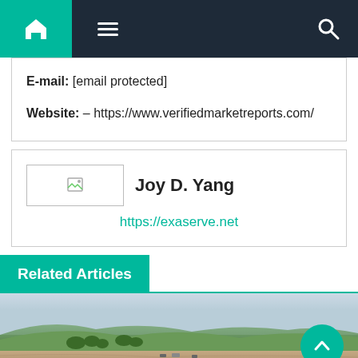Navigation bar with home, menu, and search icons
E-mail: [email protected]
Website: – https://www.verifiedmarketreports.com/
Joy D. Yang
https://exaserve.net
Related Articles
[Figure (photo): Aerial or ground-level photo of a construction or excavation site with rolling green hills and earthworks in the background]